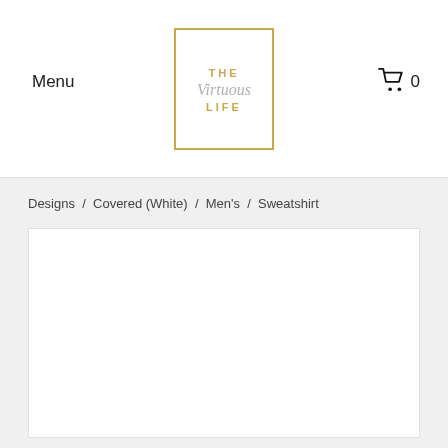Menu | THE Virtuous LIFE | 0
Designs / Covered (White) / Men's / Sweatshirt
[Figure (photo): White product image area, blank white rectangle representing a sweatshirt product photo]